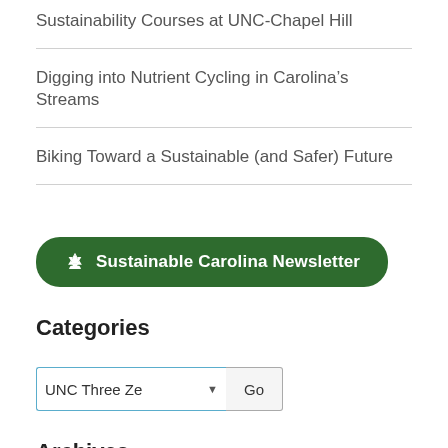Sustainability Courses at UNC-Chapel Hill
Digging into Nutrient Cycling in Carolina's Streams
Biking Toward a Sustainable (and Safer) Future
♻ Sustainable Carolina Newsletter
Categories
UNC Three Ze  Go
Archives